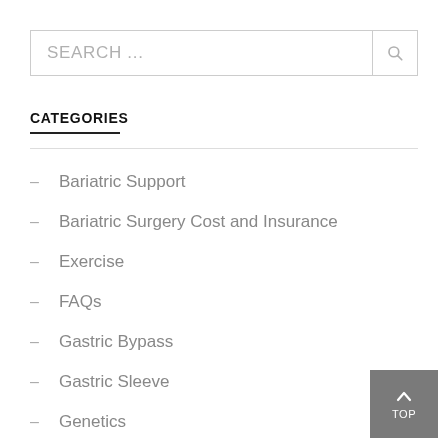[Figure (other): Search input box with magnifying glass icon]
CATEGORIES
Bariatric Support
Bariatric Surgery Cost and Insurance
Exercise
FAQs
Gastric Bypass
Gastric Sleeve
Genetics